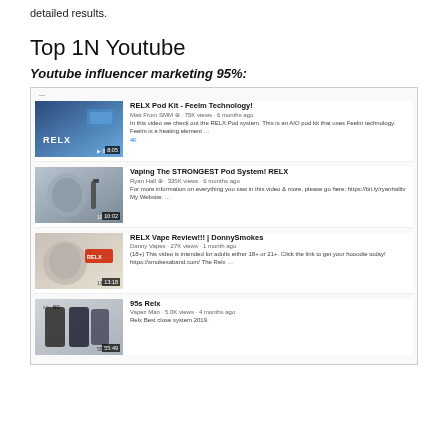detailed results.
Top 10 Youtube
Youtube influencer marketing 95%:
[Figure (screenshot): YouTube search results screenshot showing 4 RELX-related videos: (1) RELX Pod Kit - Feelm Technology! by Matt From SMM, 75K views, 6 months ago; (2) Vaping The STRONGEST Pod System! RELX by Ryan Hall, 335K views, 6 months ago; (3) RELX Vape Review!!! | DonnySmokes by Danny Vapes, 27K views, 1 month ago; (4) 95s Relx by Vapez Man, 5.0K views, 4 months ago.]